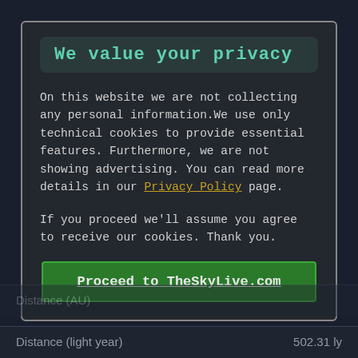We value your privacy
On this website we are not collecting any personal information.We use only technical cookies to provide essential features. Furthermore, we are not showing advertising. You can read more details in our Privacy Policy page.
If you proceed we'll assume you agree to receive our cookies. Thank you.
Proceed to TheSkyLive.com
Distance (AU)
Distance (light year)   502.31 ly